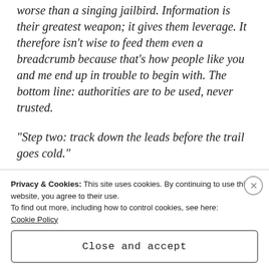worse than a singing jailbird. Information is their greatest weapon; it gives them leverage. It therefore isn't wise to feed them even a breadcrumb because that's how people like you and me end up in trouble to begin with. The bottom line: authorities are to be used, never trusted.
“Step two: track down the leads before the trail goes cold.”
The spoils of my stakeout were lying out on my desk like stolen loot. The killer had left a path of dead
Privacy & Cookies: This site uses cookies. By continuing to use this website, you agree to their use.
To find out more, including how to control cookies, see here:
Cookie Policy
Close and accept